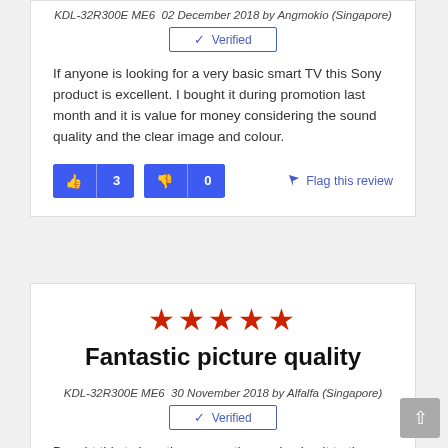KDL-32R300E ME6  02 December 2018 by Angmokio (Singapore)
[Figure (other): Verified badge with blue checkmark]
If anyone is looking for a very basic smart TV this Sony product is excellent. I bought it during promotion last month and it is value for money considering the sound quality and the clear image and colour.
[Figure (other): Thumbs up button showing 3 votes and thumbs down button showing 0 votes, plus Flag this review link]
[Figure (other): Five red stars rating]
Fantastic picture quality
KDL-32R300E ME6  30 November 2018 by Alfalfa (Singapore)
[Figure (other): Verified badge with blue checkmark]
Bought this tv less than a month ago. I using it to the max...